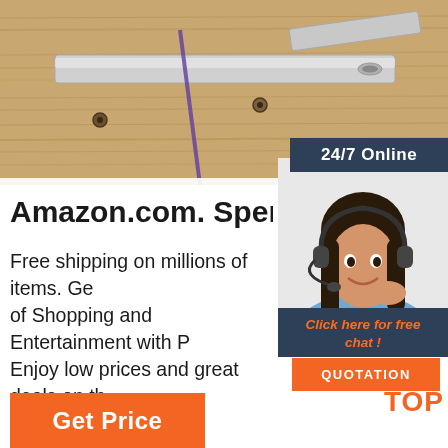[Figure (photo): Product photo showing metal bracket/strap components on a wooden surface]
24/7 Online
[Figure (photo): Customer service agent woman with headset smiling]
Amazon.com. Spend less. Sm
Free shipping on millions of items. Ge of Shopping and Entertainment with P Enjoy low prices and great deals on th selection of everyday essentials and o products, including fashion, home, bea electronics, Alexa Devices, sporting goods, toys, automotive, pets, baby, books, video games, musical instruments, office supplies, and more.
Click here for free chat !
QUOTATION
TOP
Get Price